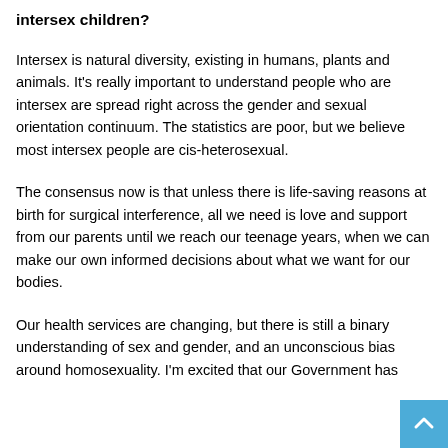intersex children?
Intersex is natural diversity, existing in humans, plants and animals. It's really important to understand people who are intersex are spread right across the gender and sexual orientation continuum. The statistics are poor, but we believe most intersex people are cis-heterosexual.
The consensus now is that unless there is life-saving reasons at birth for surgical interference, all we need is love and support from our parents until we reach our teenage years, when we can make our own informed decisions about what we want for our bodies.
Our health services are changing, but there is still a binary understanding of sex and gender, and an unconscious bias around homosexuality. I'm excited that our Government has